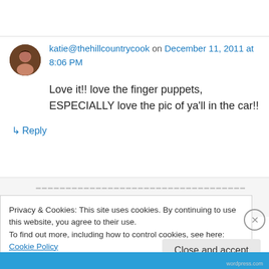katie@thehillcountrycook on December 11, 2011 at 8:06 PM
Love it!! love the finger puppets, ESPECIALLY love the pic of ya'll in the car!!
↳ Reply
Privacy & Cookies: This site uses cookies. By continuing to use this website, you agree to their use.
To find out more, including how to control cookies, see here: Cookie Policy
Close and accept